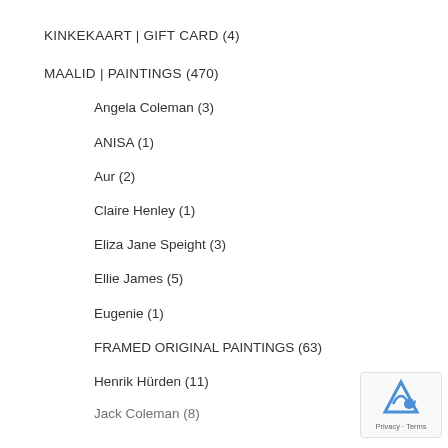KINKEKAART | GIFT CARD (4)
MAALID | PAINTINGS (470)
Angela Coleman (3)
ANISA (1)
Aur (2)
Claire Henley (1)
Eliza Jane Speight (3)
Ellie James (5)
Eugenie (1)
FRAMED ORIGINAL PAINTINGS (63)
Henrik Hürden (11)
Jack Coleman (8)